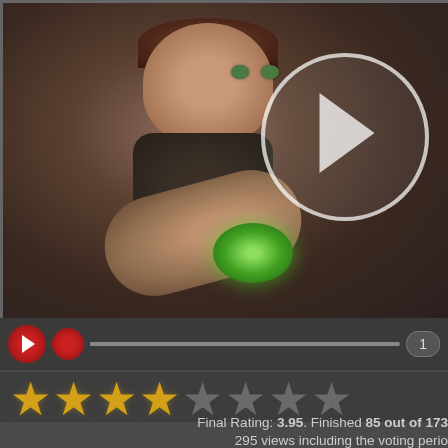[Figure (screenshot): 3D animated female character with dark hair and green eyes, wearing a dark shirt, holding a green glowing object. A large play button overlay circle with triangle is in the upper right of the video frame. Below is a media player controls bar with play button, record button, progress bar, and time badge showing '1'. Below that is a star rating row showing 4 filled yellow stars and 4 empty grey stars. Rating text reads: Final Rating: 3.95. Finished 85 out of 173. 295 views including the voting period.]
Final Rating: 3.95. Finished 85 out of 173
295 views including the voting perio